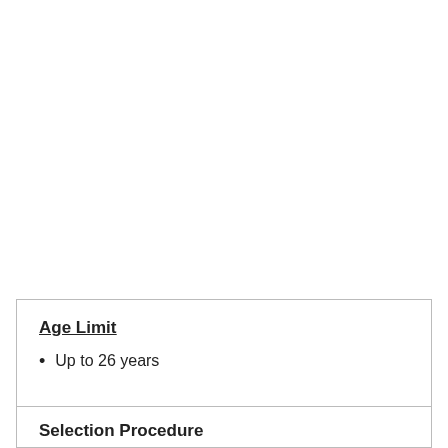Age Limit
Up to 26 years
Selection Procedure